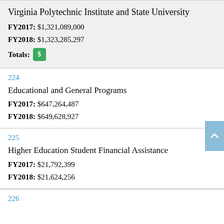Virginia Polytechnic Institute and State University
FY2017: $1,321,089,000
FY2018: $1,323,285,297
Totals: $
224
Educational and General Programs
FY2017: $647,264,487
FY2018: $649,628,927
225
Higher Education Student Financial Assistance
FY2017: $21,792,399
FY2018: $21,624,256
226